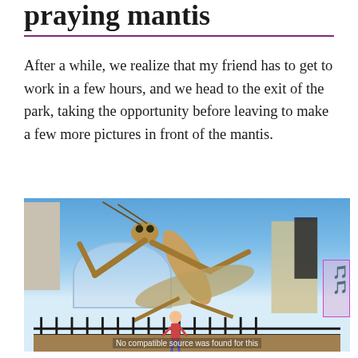praying mantis
After a while, we realize that my friend has to get to work in a few hours, and we head to the exit of the park, taking the opportunity before leaving to make a few more pictures in front of the mantis.
[Figure (photo): Photo of a giant praying mantis sculpture/statue at an amusement park, with a person standing in front of it for scale, a geodesic dome visible in the background, and a fence in the foreground. Text overlay reads 'No compatible source was found for this'.]